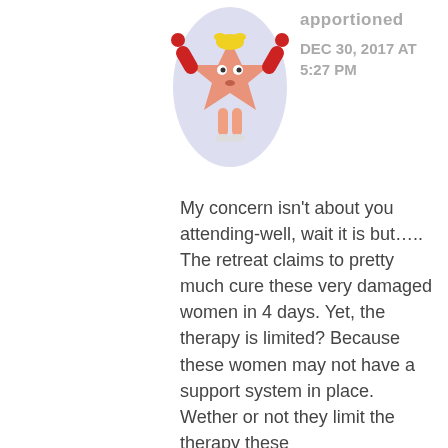[Figure (illustration): Cartoon avatar of a star-shaped character with arms raised, wearing red outfit, inside a light purple/blue circle]
apportioned
DEC 30, 2017 AT 5:27 PM
My concern isn't about you attending-well, wait it is but…..
The retreat claims to pretty much cure these very damaged women in 4 days. Yet, the therapy is limited? Because these women may not have a support system in place. Wether or not they limit the therapy these